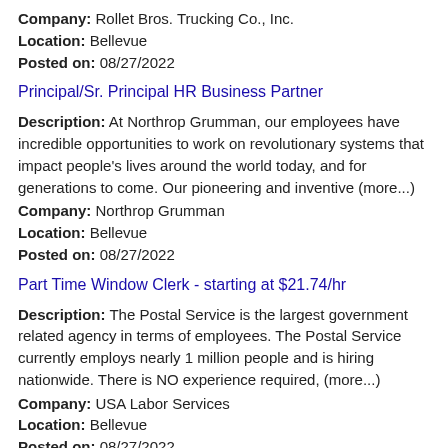Company: Rollet Bros. Trucking Co., Inc.
Location: Bellevue
Posted on: 08/27/2022
Principal/Sr. Principal HR Business Partner
Description: At Northrop Grumman, our employees have incredible opportunities to work on revolutionary systems that impact people's lives around the world today, and for generations to come. Our pioneering and inventive (more...)
Company: Northrop Grumman
Location: Bellevue
Posted on: 08/27/2022
Part Time Window Clerk - starting at $21.74/hr
Description: The Postal Service is the largest government related agency in terms of employees. The Postal Service currently employs nearly 1 million people and is hiring nationwide. There is NO experience required, (more...)
Company: USA Labor Services
Location: Bellevue
Posted on: 08/27/2022
Salary in Bellevue, Nebraska Area | More details for Bellevue, Nebraska Jobs |Salary